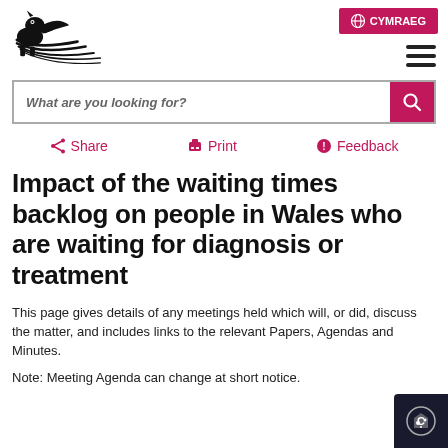CYMRAEG
[Figure (logo): Welsh dragon logo (Senedd/Welsh Government) — black dragon with striped tail lines]
What are you looking for?
Share   Print   Feedback
Impact of the waiting times backlog on people in Wales who are waiting for diagnosis or treatment
This page gives details of any meetings held which will, or did, discuss the matter, and includes links to the relevant Papers, Agendas and Minutes.
Note: Meeting Agenda can change at short notice.